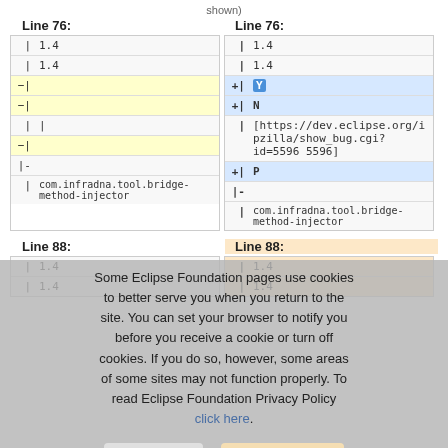shown)
| Line 76: | Line 76: |
| --- | --- |
| | 1.4 | | 1.4 |
| | 1.4 | | 1.4 |
| -| | +| Y |
| -| | +| N |
| | | | | [https://dev.eclipse.org/ipzilla/show_bug.cgi?id=5596 5596] |
| -| | +| P |
| |- | |- |
| | com.infradna.tool.bridge-method-injector | | com.infradna.tool.bridge-method-injector |
| Line 88: | Line 88: |
| --- | --- |
| | 1.4 | | 1.4 |
| | 1.4 | | 1.4 |
Some Eclipse Foundation pages use cookies to better serve you when you return to the site. You can set your browser to notify you before you receive a cookie or turn off cookies. If you do so, however, some areas of some sites may not function properly. To read Eclipse Foundation Privacy Policy click here.